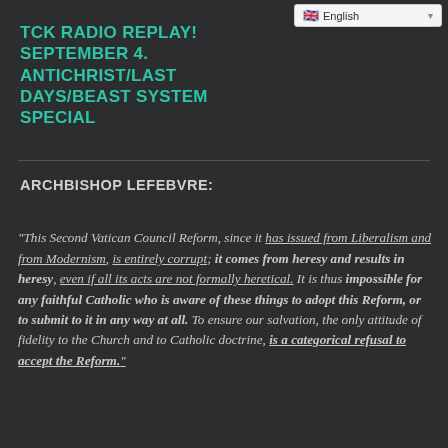English (language selector widget)
TCK RADIO REPLAY! SEPTEMBER 4. ANTICHRIST/LAST DAYS/BEAST SYSTEM SPECIAL
ARCHBISHOP LEFEBVRE:
“This Second Vatican Council Reform, since it has issued from Liberalism and from Modernism, is entirely corrupt; it comes from heresy and results in heresy, even if all its acts are not formally heretical. It is thus impossible for any faithful Catholic who is aware of these things to adopt this Reform, or to submit to it in any way at all. To ensure our salvation, the only attitude of fidelity to the Church and to Catholic doctrine, is a categorical refusal to accept the Reform.”